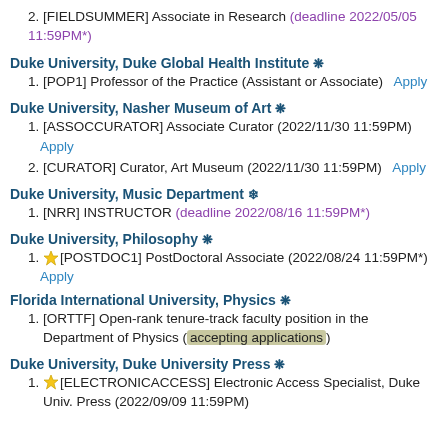2. [FIELDSUMMER] Associate in Research (deadline 2022/05/05 11:59PM*)
Duke University, Duke Global Health Institute ❋
1. [POP1] Professor of the Practice (Assistant or Associate)  Apply
Duke University, Nasher Museum of Art ❋
1. [ASSOCCURATOR] Associate Curator (2022/11/30 11:59PM)  Apply
2. [CURATOR] Curator, Art Museum (2022/11/30 11:59PM)  Apply
Duke University, Music Department ❄
1. [NRR] INSTRUCTOR (deadline 2022/08/16 11:59PM*)
Duke University, Philosophy ❋
1. ☆[POSTDOC1] PostDoctoral Associate (2022/08/24 11:59PM*)  Apply
Florida International University, Physics ❋
1. [ORTTF] Open-rank tenure-track faculty position in the Department of Physics (accepting applications)
Duke University, Duke University Press ❋
1. ☆[ELECTRONICACCESS] Electronic Access Specialist, Duke Univ. Press (2022/09/09 11:59PM)